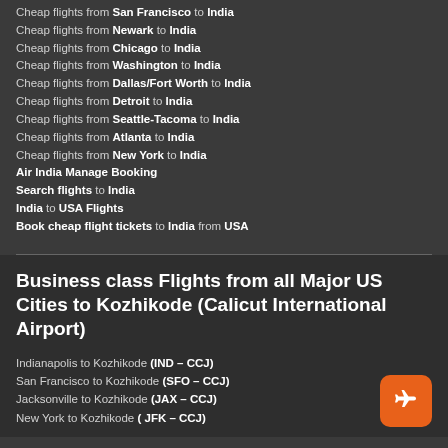Cheap flights from San Francisco to India
Cheap flights from Newark to India
Cheap flights from Chicago to India
Cheap flights from Washington to India
Cheap flights from Dallas/Fort Worth to India
Cheap flights from Detroit to India
Cheap flights from Seattle-Tacoma to India
Cheap flights from Atlanta to India
Cheap flights from New York to India
Air India Manage Booking
Search flights to India
India to USA Flights
Book cheap flight tickets to India from USA
Business class Flights from all Major US Cities to Kozhikode (Calicut International Airport)
Indianapolis to Kozhikode (IND – CCJ)
San Francisco to Kozhikode (SFO – CCJ)
Jacksonville to Kozhikode (JAX – CCJ)
New York to Kozhikode ( JFK – CCJ)